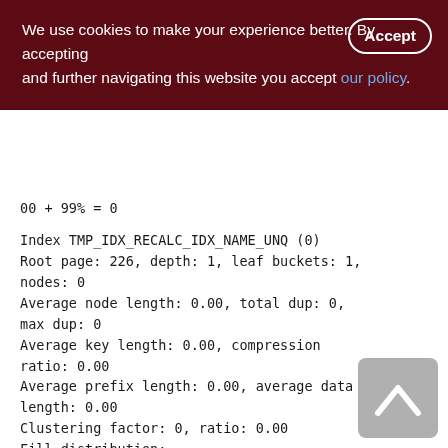We use cookies to make your experience better. By accepting and further navigating this website you accept our policy.
00 + 99% = 0
Index TMP_IDX_RECALC_IDX_NAME_UNQ (0)
Root page: 226, depth: 1, leaf buckets: 1, nodes: 0
Average node length: 0.00, total dup: 0, max dup: 0
Average key length: 0.00, compression ratio: 0.00
Average prefix length: 0.00, average data length: 0.00
Clustering factor: 0, ratio: 0.00
Fill distribution: